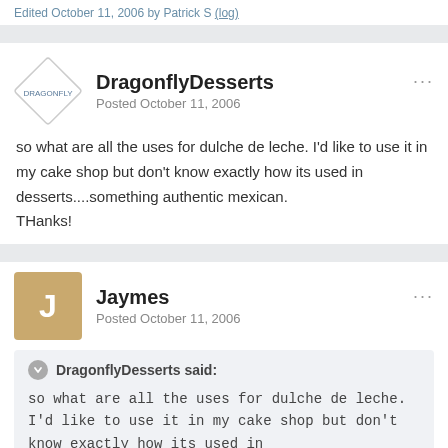Edited October 11, 2006 by Patrick S (log)
DragonflyDesserts
Posted October 11, 2006
so what are all the uses for dulche de leche. I'd like to use it in my cake shop but don't know exactly how its used in desserts....something authentic mexican.
THanks!
Jaymes
Posted October 11, 2006
DragonflyDesserts said:
so what are all the uses for dulche de leche. I'd like to use it in my cake shop but don't know exactly how its used in